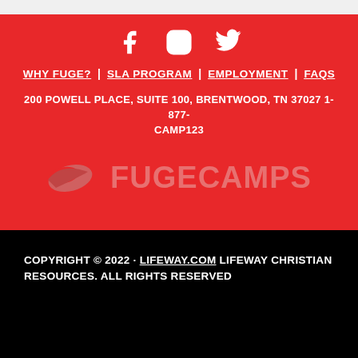[Figure (logo): Social media icons: Facebook, Instagram, Twitter in white on red background]
WHY FUGE? | SLA PROGRAM | EMPLOYMENT | FAQS
200 POWELL PLACE, SUITE 100, BRENTWOOD, TN 37027 1-877-CAMP123
[Figure (logo): FUGE CAMPS logo with bird/swoosh icon in pink/salmon color on red background]
COPYRIGHT © 2022 · LIFEWAY.COM LIFEWAY CHRISTIAN RESOURCES. ALL RIGHTS RESERVED